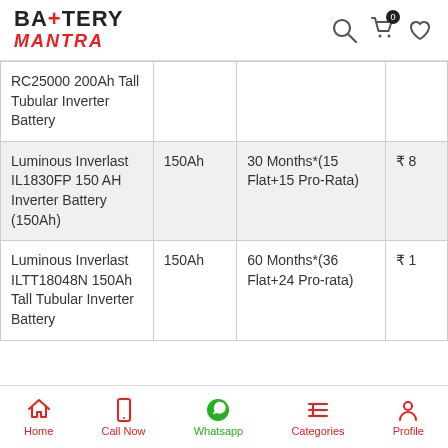Battery Mantra
| Product | Capacity | Warranty | Price |
| --- | --- | --- | --- |
| RC25000 200Ah Tall Tubular Inverter Battery |  |  |  |
| Luminous Inverlast IL1830FP 150 AH Inverter Battery (150Ah) | 150Ah | 30 Months*(15 Flat+15 Pro-Rata) | ₹ 8 |
| Luminous Inverlast ILTT18048N 150Ah Tall Tubular Inverter Battery | 150Ah | 60 Months*(36 Flat+24 Pro-rata) | ₹ 1 |
Home | Call Now | Whatsapp | Categories | Profile